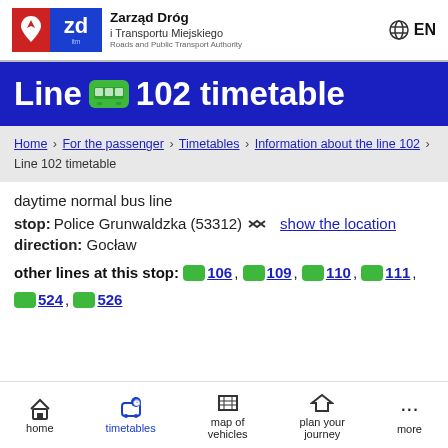Zarząd Dróg i Transportu Miejskiego Roads and Public Transport Authority
Line 102 timetable
Home › For the passenger › Timetables › Information about the line 102 › Line 102 timetable
daytime normal bus line
stop: Police Grunwaldzka (53312) show the location
direction: Gocław
other lines at this stop: 106, 109, 110, 111, 524, 526
home timetables map of vehicles plan your journey more